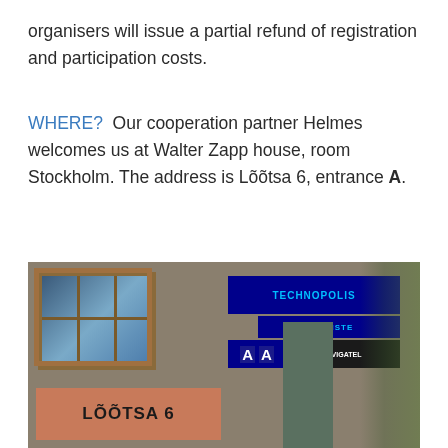organisers will issue a partial refund of registration and participation costs.
WHERE?  Our cooperation partner Helmes welcomes us at Walter Zapp house, room Stockholm. The address is Lõõtsa 6, entrance A.
[Figure (photo): Photograph of the entrance to Technopolis Ülemiste building at Lõõtsa 6. Shows a stone-clad building facade with a large illuminated blue TECHNOPOLIS ÜLEMISTE sign, entrance markers 'A A', a DVIGATEL sign, and a prominent terracotta-colored sign reading LÕÕTSA 6 in bold black letters.]